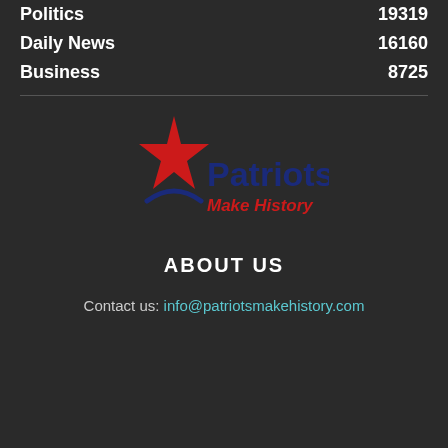Politics  19319
Daily News  16160
Business  8725
[Figure (logo): Patriots Make History logo with red star and blue text]
ABOUT US
Contact us: info@patriotsmakehistory.com